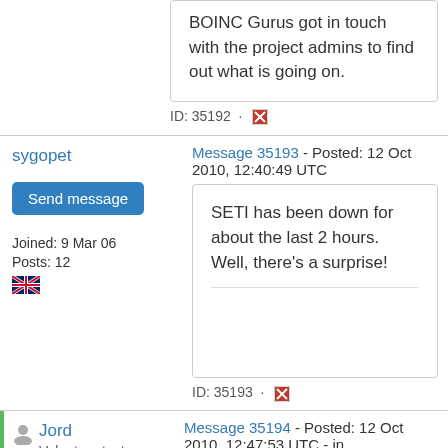BOINC Gurus got in touch with the project admins to find out what is going on.
ID: 35192 · [report icon]
sygopet
Send message
Joined: 9 Mar 06
Posts: 12
Message 35193 - Posted: 12 Oct 2010, 12:40:49 UTC
SETI has been down for about the last 2 hours. Well, there's a surprise!
ID: 35193 · [report icon]
Jord
Volunteer tester
Message 35194 - Posted: 12 Oct 2010, 12:47:53 UTC - in